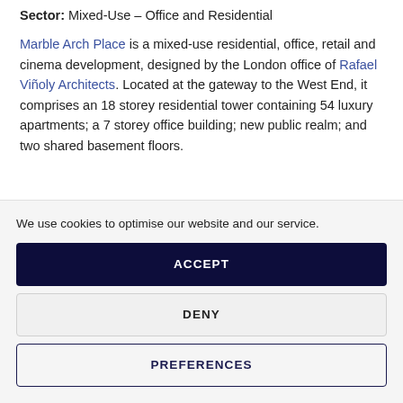Sector: Mixed-Use – Office and Residential
Marble Arch Place is a mixed-use residential, office, retail and cinema development, designed by the London office of Rafael Viñoly Architects. Located at the gateway to the West End, it comprises an 18 storey residential tower containing 54 luxury apartments; a 7 storey office building; new public realm; and two shared basement floors.
We use cookies to optimise our website and our service.
ACCEPT
DENY
PREFERENCES